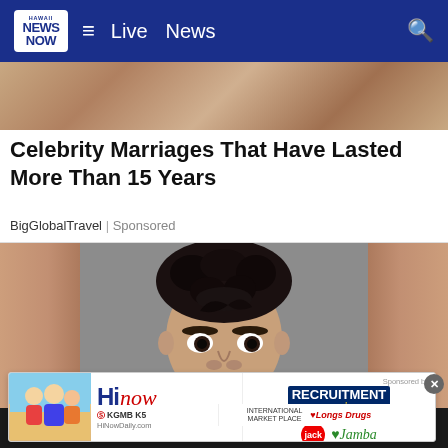Hawaii News Now — Live News
[Figure (photo): Partial cropped photo visible at top showing people, clipped by navigation bar]
Celebrity Marriages That Have Lasted More Than 15 Years
BigGlobalTravel | Sponsored
[Figure (photo): Mugshot of a young man with curly dark hair and round face against a gray background, flanked by blurred warm-toned side panels]
[Figure (screenshot): Advertisement overlay at bottom: HiNow / KGMB K5 logo, Recruitment Week Aug. 29 - Sept. 2, Jack in the Box logo, Jamba logo, International Market Place, Longs Drugs, Sponsored by label, close button]